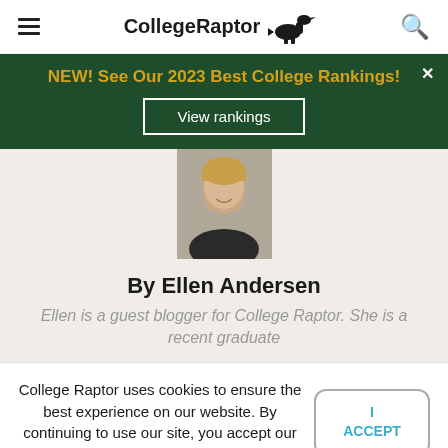CollegeRaptor
NEW! See Our 2023 Best College Rankings!
View rankings
By Ellen Andersen
Ellen is a guest blogger for College Raptor. She is a recent graduate
College Raptor uses cookies to ensure the best experience on our website. By continuing to use our site, you accept our use of cookies. Learn more.
I ACCEPT